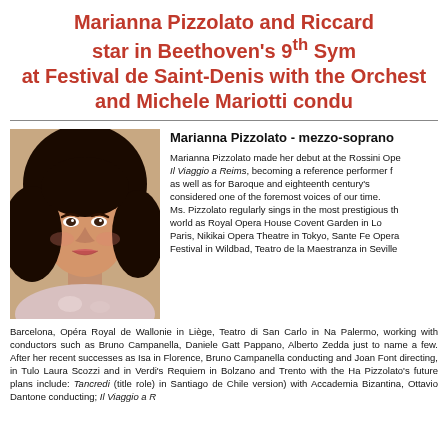Marianna Pizzolato and Riccard star in Beethoven's 9th Sym at Festival de Saint-Denis with the Orchest and Michele Mariotti condu
[Figure (photo): Headshot photo of Marianna Pizzolato, mezzo-soprano, with curly dark hair]
Marianna Pizzolato - mezzo-soprano
Marianna Pizzolato made her debut at the Rossini Ope Il Viaggio a Reims, becoming a reference performer f as well as for Baroque and eighteenth century's considered one of the foremost voices of our time. Ms. Pizzolato regularly sings in the most prestigious th world as Royal Opera House Covent Garden in Lo Paris, Nikikai Opera Theatre in Tokyo, Sante Fe Opera Festival in Wildbad, Teatro de la Maestranza in Seville Barcelona, Opéra Royal de Wallonie in Liège, Teatro di San Carlo in Na Palermo, working with conductors such as Bruno Campanella, Daniele Gatt Pappano, Alberto Zedda just to name a few. After her recent successes as Isa in Florence, Bruno Campanella conducting and Joan Font directing, in Tulo Laura Scozzi and in Verdi's Requiem in Bolzano and Trento with the Ha Pizzolato's future plans include: Tancredi (title role) in Santiago de Chile version) with Accademia Bizantina, Ottavio Dantone conducting; Il Viaggio a R